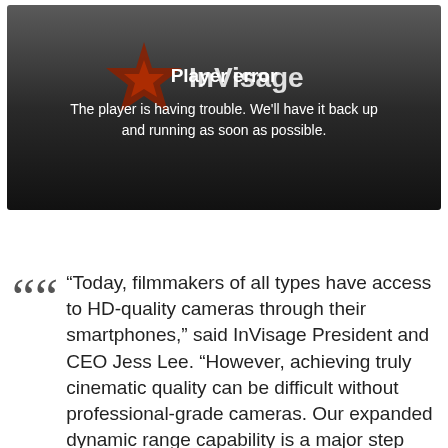[Figure (screenshot): Video player error screen with dark gradient background, InVisage logo (red star shape with text), showing 'Player error' title and error message in white text.]
“Today, filmmakers of all types have access to HD-quality cameras through their smartphones,” said InVisage President and CEO Jess Lee. “However, achieving truly cinematic quality can be difficult without professional-grade cameras. Our expanded dynamic range capability is a major step forward in allowing smartphones to